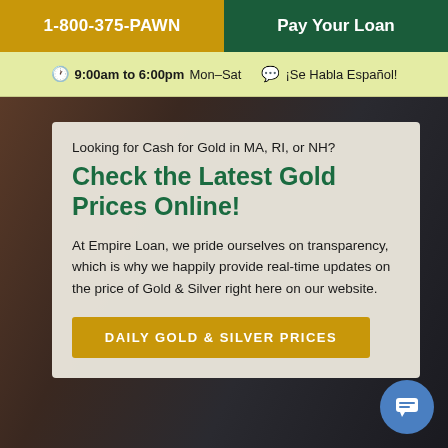1-800-375-PAWN | Pay Your Loan
🕐 9:00am to 6:00pm Mon–Sat  💬 ¡Se Habla Español!
[Figure (photo): Background photo of a person, dark toned]
Looking for Cash for Gold in MA, RI, or NH?
Check the Latest Gold Prices Online!
At Empire Loan, we pride ourselves on transparency, which is why we happily provide real-time updates on the price of Gold & Silver right here on our website.
DAILY GOLD & SILVER PRICES